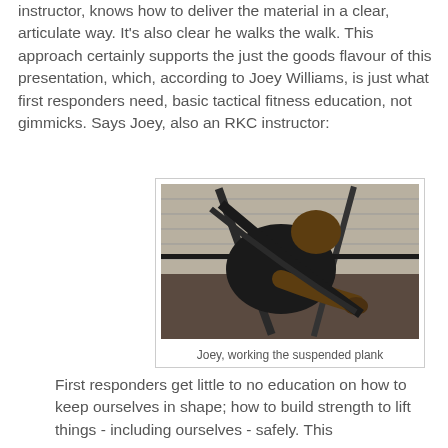instructor, knows how to deliver the material in a clear, articulate way. It's also clear he walks the walk. This approach certainly supports the just the goods flavour of this presentation, which, according to Joey Williams, is just what first responders need, basic tactical fitness education, not gimmicks. Says Joey, also an RKC instructor:
[Figure (photo): A muscular man in a black shirt performing a suspended plank exercise on gym equipment, photographed from the side/above angle in a gym setting with brick walls.]
Joey, working the suspended plank
First responders get little to no education on how to keep ourselves in shape; how to build strength to lift things - including ourselves - safely. This